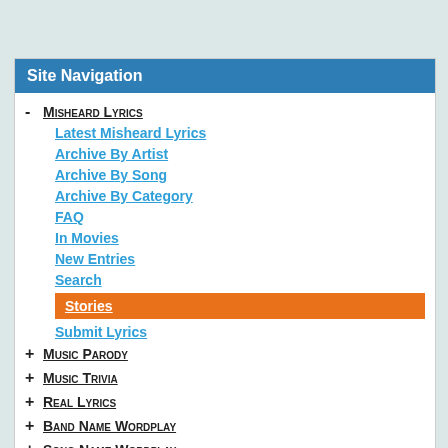Site Navigation
- Misheard Lyrics
Latest Misheard Lyrics
Archive By Artist
Archive By Song
Archive By Category
FAQ
In Movies
New Entries
Search
Stories
Submit Lyrics
+ Music Parody
+ Music Trivia
+ Real Lyrics
+ Band Name Wordplay
+ Song Name Wordplay